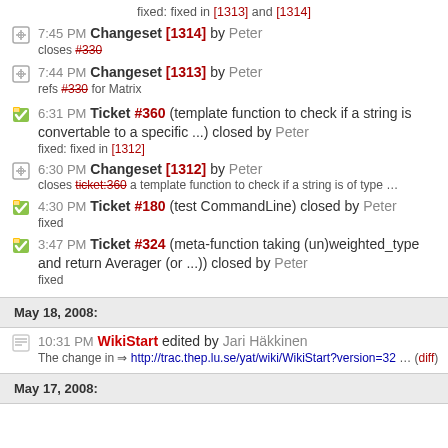fixed: fixed in [1313] and [1314]
7:45 PM Changeset [1314] by Peter
  closes #330
7:44 PM Changeset [1313] by Peter
  refs #330 for Matrix
6:31 PM Ticket #360 (template function to check if a string is convertable to a specific ...) closed by Peter
  fixed: fixed in [1312]
6:30 PM Changeset [1312] by Peter
  closes ticket:360 a template function to check if a string is of type ...
4:30 PM Ticket #180 (test CommandLine) closed by Peter
  fixed
3:47 PM Ticket #324 (meta-function taking (un)weighted_type and return Averager (or ...)) closed by Peter
  fixed
May 18, 2008:
10:31 PM WikiStart edited by Jari Häkkinen
  The change in ⇒ http://trac.thep.lu.se/yat/wiki/WikiStart?version=32 ... (diff)
May 17, 2008: